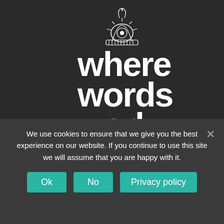[Figure (logo): Mythstories museum logo — a decorative circular emblem resembling an eye or sun face with ornamental border, rendered in white outline on dark background]
where words work
Mythstories
museum of myth and fable
We use cookies to ensure that we give you the best experience on our website. If you continue to use this site we will assume that you are happy with it.
Ok | No | Privacy policy